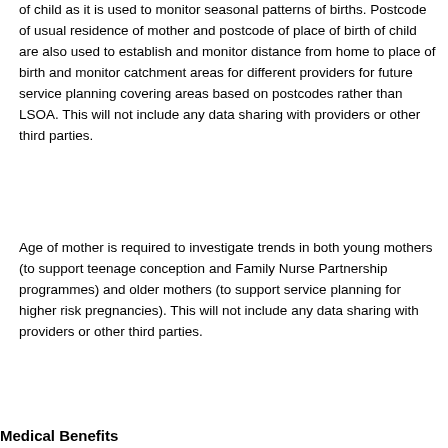of child as it is used to monitor seasonal patterns of births. Postcode of usual residence of mother and postcode of place of birth of child are also used to establish and monitor distance from home to place of birth and monitor catchment areas for different providers for future service planning covering areas based on postcodes rather than LSOA. This will not include any data sharing with providers or other third parties.
Age of mother is required to investigate trends in both young mothers (to support teenage conception and Family Nurse Partnership programmes) and older mothers (to support service planning for higher risk pregnancies). This will not include any data sharing with providers or other third parties.
Medical Benefits